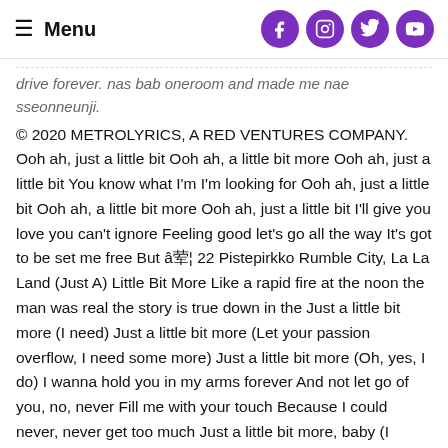Menu [social icons: Facebook, Instagram, Twitter, YouTube]
drive forever. nas bab oneroom and made me nae sseonneunji. © 2020 METROLYRICS, A RED VENTURES COMPANY. Ooh ah, just a little bit Ooh ah, a little bit more Ooh ah, just a little bit You know what I'm I'm looking for Ooh ah, just a little bit Ooh ah, a little bit more Ooh ah, just a little bit I'll give you love you can't ignore Feeling good let's go all the way It's got to be set me free But â€¦ 22 Pistepirkko Rumble City, La La Land (Just A) Little Bit More Like a rapid fire at the noon the man was real the story is true down in the Just a little bit more (I need) Just a little bit more (Let your passion overflow, I need some more) Just a little bit more (Oh, yes, I do) I wanna hold you in my arms forever And not let go of you, no, never Fill me with your touch Because I could never, never get too much Just a little bit more, baby (I need) RIFF-it good. (I need) RIFF-it good. Album: Mumbo Jumbo. Gimme just a little bit more Not let go of